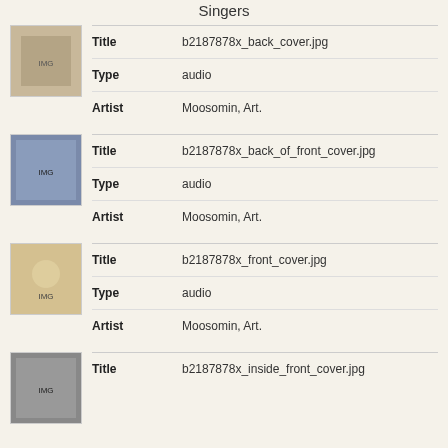Singers
| Field | Value |
| --- | --- |
| Title | b2187878x_back_cover.jpg |
| Type | audio |
| Artist | Moosomin, Art. |
| Field | Value |
| --- | --- |
| Title | b2187878x_back_of_front_cover.jpg |
| Type | audio |
| Artist | Moosomin, Art. |
| Field | Value |
| --- | --- |
| Title | b2187878x_front_cover.jpg |
| Type | audio |
| Artist | Moosomin, Art. |
| Field | Value |
| --- | --- |
| Title | b2187878x_inside_front_cover.jpg |